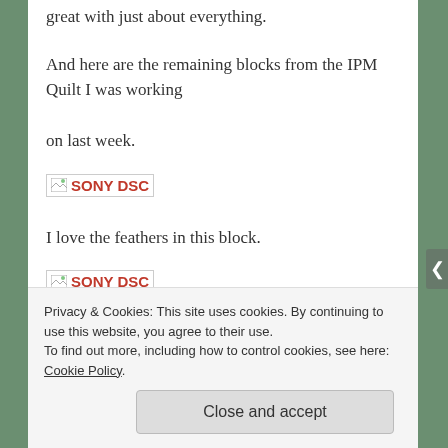great with just about everything.
And here are the remaining blocks from the IPM Quilt I was working on last week.
[Figure (photo): Broken image placeholder with alt text SONY DSC]
I love the feathers in this block.
[Figure (photo): Broken image placeholder with alt text SONY DSC]
This sashing area is cream but I quilted it in the same
Privacy & Cookies: This site uses cookies. By continuing to use this website, you agree to their use.
To find out more, including how to control cookies, see here: Cookie Policy
Close and accept